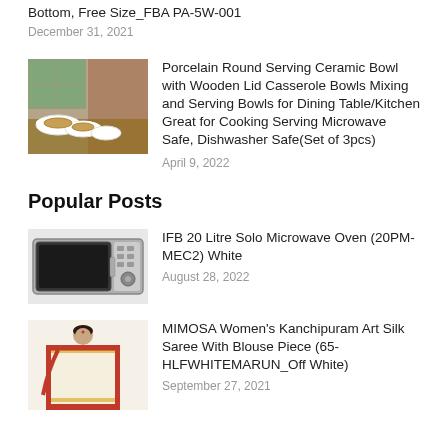Bottom, Free Size_FBA PA-5W-001
December 31, 2021
[Figure (photo): Porcelain ceramic bowls with wooden lids on a wooden table]
Porcelain Round Serving Ceramic Bowl with Wooden Lid Casserole Bowls Mixing and Serving Bowls for Dining Table/Kitchen Great for Cooking Serving Microwave Safe, Dishwasher Safe(Set of 3pcs)
April 9, 2022
Popular Posts
[Figure (photo): IFB 20 Litre Solo Microwave Oven white]
IFB 20 Litre Solo Microwave Oven (20PM-MEC2) White
August 28, 2022
[Figure (photo): Woman wearing MIMOSA Kanchipuram Art Silk Saree in Off White with maroon border]
MIMOSA Women's Kanchipuram Art Silk Saree With Blouse Piece (65-HLFWHITEMARUN_Off White)
September 27, 2021